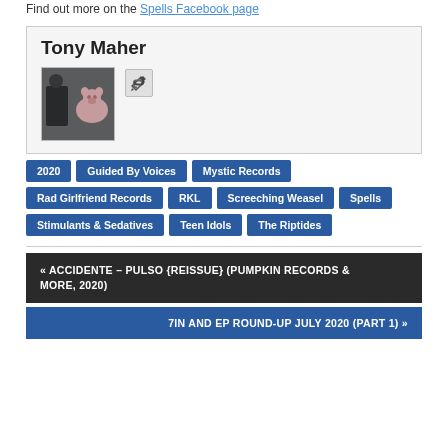Find out more on the Spells Facebook page
Tony Maher
[Figure (photo): Profile photo of Tony Maher showing a man standing next to a pig]
2020
Guided By Voices
Mystic Records
Rad Girlfriend Records
RKL
Screeching Weasel
Spells
Stimulants & Sedatives
Teen Idols
The Riptides
« ACCIDENTE – PULSO {REISSUE} (PUMPKIN RECORDS & MORE, 2020)
7IN AND EP ROUND-UP JULY 2020 (PART 1) »